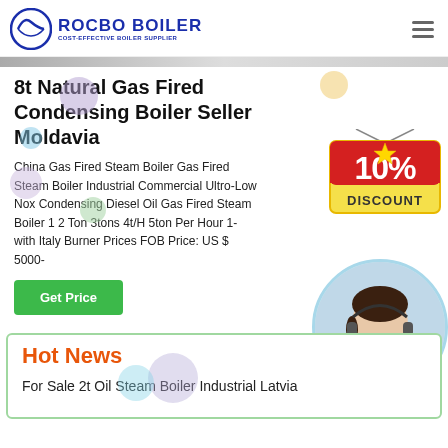ROCBO BOILER - COST-EFFECTIVE BOILER SUPPLIER
8t Natural Gas Fired Condensing Boiler Seller Moldavia
China Gas Fired Steam Boiler Gas Fired Steam Boiler Industrial Commercial Ultro-Low Nox Condensing Diesel Oil Gas Fired Steam Boiler 1 2 Ton 3tons 4t/H 5ton Per Hour 1- with Italy Burner Prices FOB Price: US $ 5000-
[Figure (illustration): 10% DISCOUNT badge/sticker in red with star decoration]
[Figure (photo): Customer service representative woman wearing headset, smiling, in circular frame]
Hot News
For Sale 2t Oil Steam Boiler Industrial Latvia